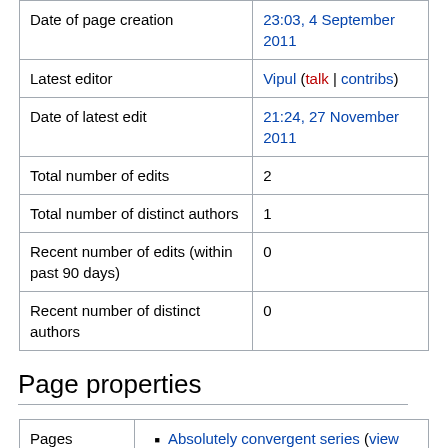| Date of page creation | 23:03, 4 September 2011 |
| Latest editor | Vipul (talk | contribs) |
| Date of latest edit | 21:24, 27 November 2011 |
| Total number of edits | 2 |
| Total number of distinct authors | 1 |
| Recent number of edits (within past 90 days) | 0 |
| Recent number of distinct authors | 0 |
Page properties
| Pages transcluded on | Absolutely convergent series (view source) |